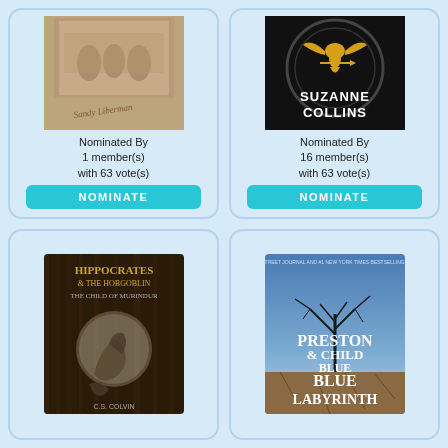[Figure (illustration): Book cover: sepia-toned historical photo with handwritten text, author name appears to be Sandy Liberman]
Nominated By 1 member(s) with 63 vote(s)
NOMINATE
[Figure (illustration): Book cover: The Hunger Games by Suzanne Collins, black background with gold mockingjay symbol, white text reading SUZANNE COLLINS]
Nominated By 16 member(s) with 63 vote(s)
NOMINATE
[Figure (illustration): Book cover: Hippocrates & the Hobgoblin - The Child of Murindur by C.S. Colvin, dark brown tones with a dragon/serpent creature]
[Figure (illustration): Book cover: Blue Labyrinth by Preston & Child, blue winter landscape with bare tree silhouette, large white text]